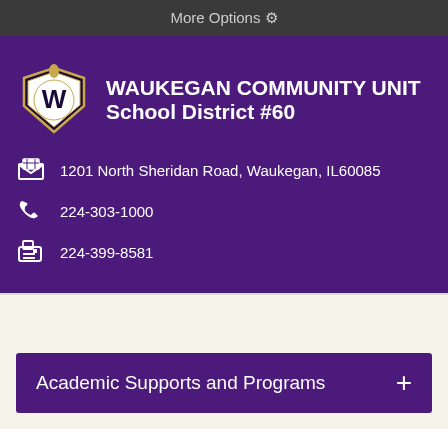More Options ⚙
WAUKEGAN COMMUNITY UNIT School District #60
1201 North Sheridan Road, Waukegan, IL60085
224-303-1000
224-399-8581
Academic Supports and Programs